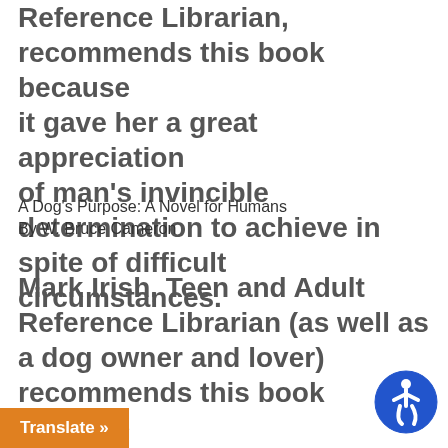Reference Librarian, recommends this book because it gave her a great appreciation of man's invincible determination to achieve in spite of difficult circumstances.
A Dog's Purpose: A Novel for Humans
By W. Bruce Cameron
Mark Irish, Teen and Adult Reference Librarian (as well as a dog owner and lover) recommends this book because it's a heartwarming story about a dog who is reincarnated four and finds purpose in each
Translate »